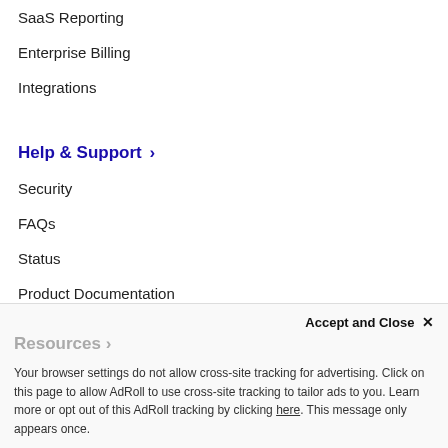SaaS Reporting
Enterprise Billing
Integrations
Help & Support >
Security
FAQs
Status
Product Documentation
API Documentation
Supported Payment Gateways
Sitemap
Resources >
Accept and Close ×
Your browser settings do not allow cross-site tracking for advertising. Click on this page to allow AdRoll to use cross-site tracking to tailor ads to you. Learn more or opt out of this AdRoll tracking by clicking here. This message only appears once.